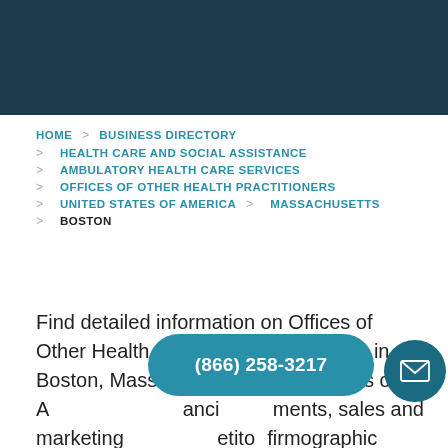[dark teal header banner]
HOME > BUSINESS DIRECTORY
> HEALTH CARE AND SOCIAL ASSISTANCE
> AMBULATORY HEALTH CARE SERVICES
> OFFICES OF OTHER HEALTH PRACTITIONERS
> UNITED STATES OF AMERICA > MASSACHUSETTS
> BOSTON
Find detailed information on Offices of Other Health Practitioners companies in Boston, Massachusetts, United States of A[merica, with financial statements, sales and marketing] [competitor firm]ographic insights. Dun & Bradstreet gathers Offices of Other Health